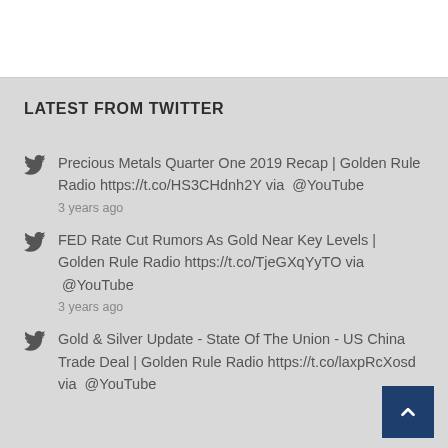LATEST FROM TWITTER
Precious Metals Quarter One 2019 Recap | Golden Rule Radio https://t.co/HS3CHdnh2Y via  @YouTube
3 years ago
FED Rate Cut Rumors As Gold Near Key Levels | Golden Rule Radio https://t.co/TjeGXqYyTO via  @YouTube
3 years ago
Gold & Silver Update - State Of The Union - US China Trade Deal | Golden Rule Radio https://t.co/laxpRcXosd via  @YouTube